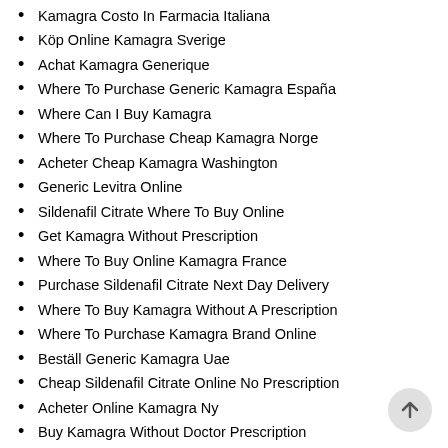Kamagra Costo In Farmacia Italiana
Köp Online Kamagra Sverige
Achat Kamagra Generique
Where To Purchase Generic Kamagra España
Where Can I Buy Kamagra
Where To Purchase Cheap Kamagra Norge
Acheter Cheap Kamagra Washington
Generic Levitra Online
Sildenafil Citrate Where To Buy Online
Get Kamagra Without Prescription
Where To Buy Online Kamagra France
Purchase Sildenafil Citrate Next Day Delivery
Where To Buy Kamagra Without A Prescription
Where To Purchase Kamagra Brand Online
Beställ Generic Kamagra Uae
Cheap Sildenafil Citrate Online No Prescription
Acheter Online Kamagra Ny
Buy Kamagra Without Doctor Prescription
Can I Buy Sildenafil Citrate Over The Counter
Best Kamagra Order
Legal Buy Kamagra Online